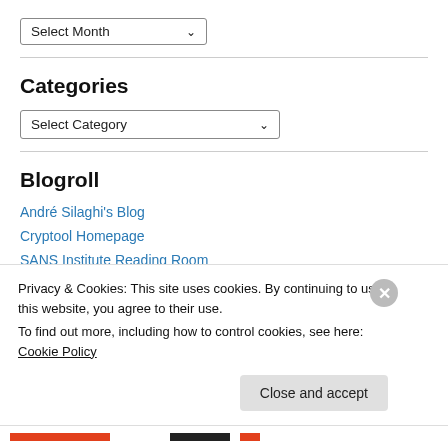[Figure (screenshot): Dropdown widget showing 'Select Month' with a down arrow]
Categories
[Figure (screenshot): Dropdown widget showing 'Select Category' with a down arrow]
Blogroll
André Silaghi's Blog
Cryptool Homepage
SANS Institute Reading Room
Privacy & Cookies: This site uses cookies. By continuing to use this website, you agree to their use.
To find out more, including how to control cookies, see here: Cookie Policy
Close and accept